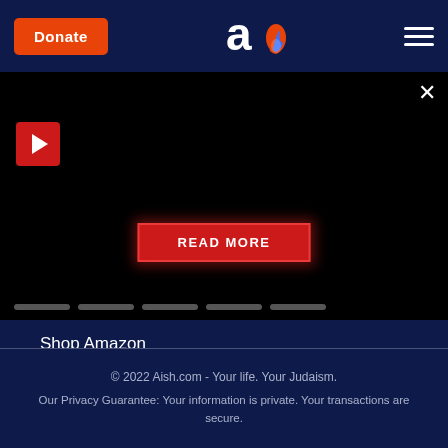Donate | Aish.com logo | Navigation menu
[Figure (screenshot): Black video player area with red play button, READ MORE button, and slider dots at bottom]
Shop Amazon
Languages
Spanish
Hebrew
French
© 2022 Aish.com - Your life. Your Judaism.
Our Privacy Guarantee: Your information is private. Your transactions are secure.